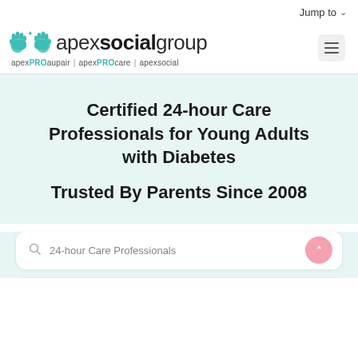Jump to
[Figure (logo): Apex Social Group logo with teal hand icons and text 'apexsocialgroup', subtext: apexPROaupair | apexPROcare | apexsocial]
Certified 24-hour Care Professionals for Young Adults with Diabetes
Trusted By Parents Since 2008
24-hour Care Professionals